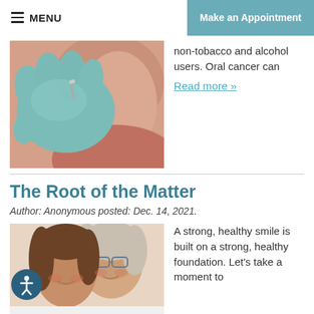≡ MENU | Make an Appointment
[Figure (photo): Close-up of a gloved hand examining a person's neck/jaw area]
non-tobacco and alcohol users. Oral cancer can
Read more »
The Root of the Matter
Author: Anonymous posted: Dec. 14, 2021.
[Figure (photo): Two women smiling together, one younger and one older with glasses]
A strong, healthy smile is built on a strong, healthy foundation. Let's take a moment to